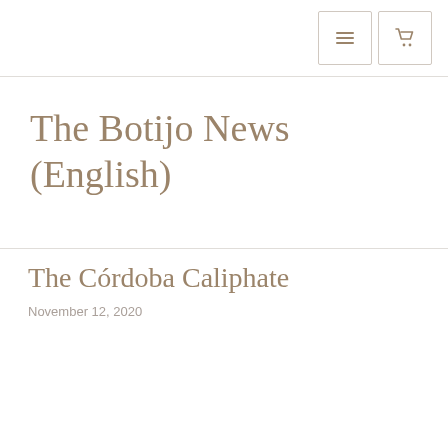[Navigation: menu icon button, cart icon button]
The Botijo News (English)
The Córdoba Caliphate
November 12, 2020